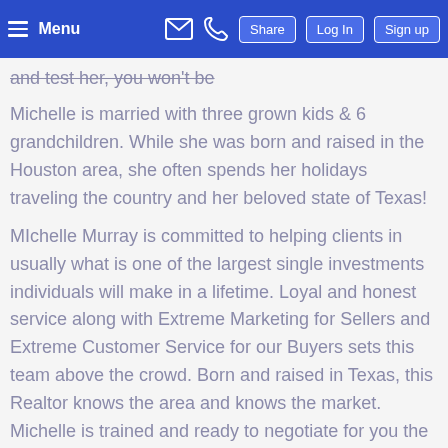Menu | [email icon] [phone icon] | Share | Log In | Sign up
and test her, you won't be
Michelle is married with three grown kids & 6 grandchildren. While she was born and raised in the Houston area, she often spends her holidays traveling the country and her beloved state of Texas!
MIchelle Murray is committed to helping clients in usually what is one of the largest single investments individuals will make in a lifetime. Loyal and honest service along with Extreme Marketing for Sellers and Extreme Customer Service for our Buyers sets this team above the crowd. Born and raised in Texas, this Realtor knows the area and knows the market. Michelle is trained and ready to negotiate for you the buyer or you the seller. In fact, Michelle is known as the "Black Tie Service...Blue Jean Friendly" Realtor who works for her clients best interests. Call and test her, you won't be sorry.